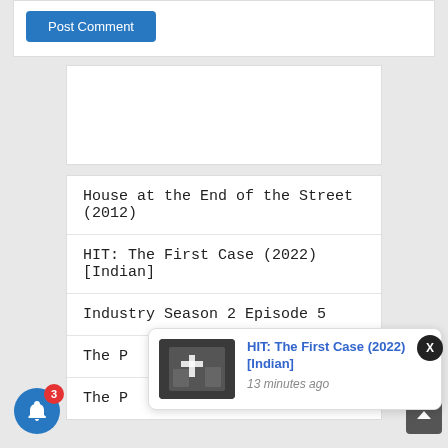[Figure (screenshot): Post Comment button area - blue button labeled Post Comment]
[Figure (other): Advertisement / empty white box]
House at the End of the Street (2012)
HIT: The First Case (2022) [Indian]
Industry Season 2 Episode 5
The P...
The P...
[Figure (screenshot): Notification popup: HIT: The First Case (2022) [Indian] - 13 minutes ago, with thumbnail image and X close button]
[Figure (other): Bell notification icon with badge showing 3, blue circle button, and scroll-to-top arrow button]